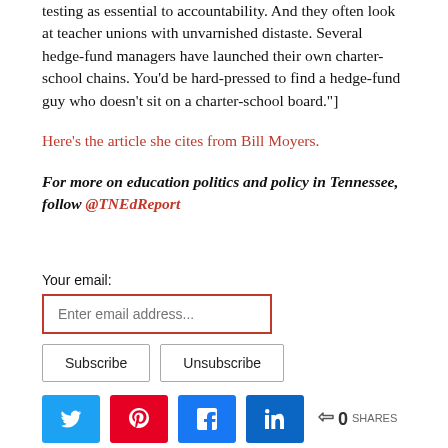testing as essential to accountability. And they often look at teacher unions with unvarnished distaste. Several hedge-fund managers have launched their own charter-school chains. You'd be hard-pressed to find a hedge-fund guy who doesn't sit on a charter-school board."]
Here's the article she cites from Bill Moyers.
For more on education politics and policy in Tennessee, follow @TNEdReport
Your email:
Subscribe   Unsubscribe
Related
[Figure (other): Social share buttons: Twitter, Pinterest, Facebook, LinkedIn, and a share count showing 0 SHARES]